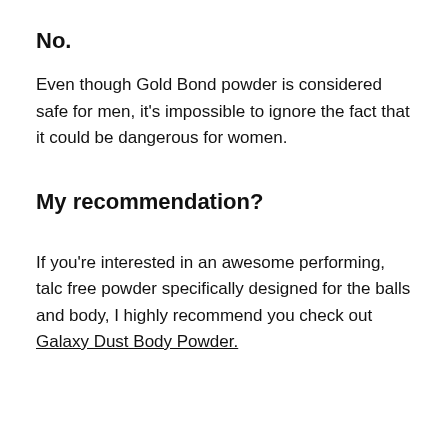No.
Even though Gold Bond powder is considered safe for men, it's impossible to ignore the fact that it could be dangerous for women.
My recommendation?
If you're interested in an awesome performing, talc free powder specifically designed for the balls and body, I highly recommend you check out Galaxy Dust Body Powder.